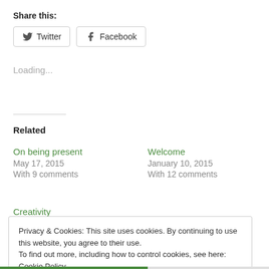Share this:
[Figure (other): Twitter and Facebook share buttons]
Loading...
Related
On being present
May 17, 2015
With 9 comments
Welcome
January 10, 2015
With 12 comments
Creativity
Privacy & Cookies: This site uses cookies. By continuing to use this website, you agree to their use.
To find out more, including how to control cookies, see here: Cookie Policy